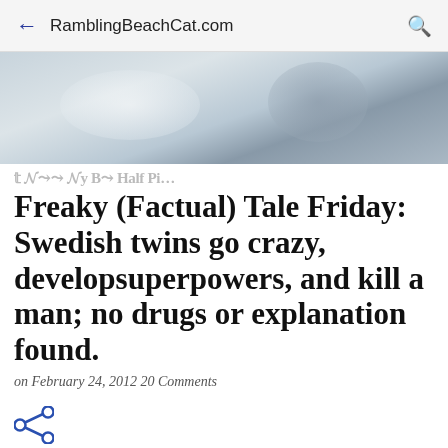RamblingBeachCat.com
[Figure (photo): Blurred light blue and grey abstract hero image at the top of the article page]
Freaky (Factual) Tale Friday: Swedish twins go crazy, developsuperpowers, and kill a man; no drugs or explanation found.
on February 24, 2012 20 Comments
[Figure (other): Share icon (less-than style arrow with two circles)]